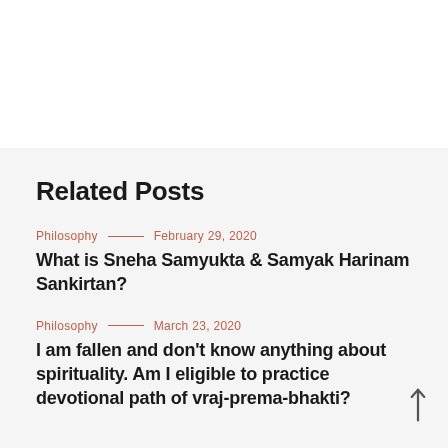Related Posts
Philosophy — February 29, 2020
What is Sneha Samyukta & Samyak Harinam Sankirtan?
Philosophy — March 23, 2020
I am fallen and don't know anything about spirituality. Am I eligible to practice devotional path of vraj-prema-bhakti?